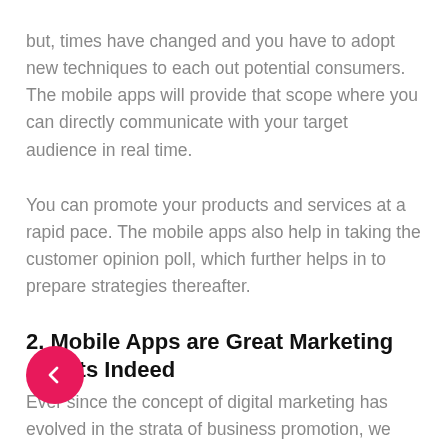but, times have changed and you have to adopt new techniques to each out potential consumers. The mobile apps will provide that scope where you can directly communicate with your target audience in real time.
You can promote your products and services at a rapid pace. The mobile apps also help in taking the customer opinion poll, which further helps in to prepare strategies thereafter.
2. Mobile Apps are Great Marketing Assets Indeed
Ever since the concept of digital marketing has evolved in the strata of business promotion, we